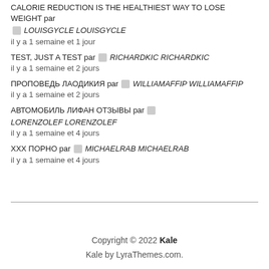CALORIE REDUCTION IS THE HEALTHIEST WAY TO LOSE WEIGHT par LOUISGYCLE LOUISGYCLE
il y a 1 semaine et 1 jour
TEST, JUST A TEST par RICHARDKIC RICHARDKIC
il y a 1 semaine et 2 jours
ПРОПОВЕДЬ ЛАОДИКИЯ par WILLIAMAFFIP WILLIAMAFFIP
il y a 1 semaine et 2 jours
АВТОМОБИЛЬ ЛИФАН ОТЗЫВЫ par LORENZOLEF LORENZOLEF
il y a 1 semaine et 4 jours
ХХХ ПОРНО par MICHAELRAB MICHAELRAB
il y a 1 semaine et 4 jours
Copyright © 2022 Kale
Kale by LyraThemes.com.